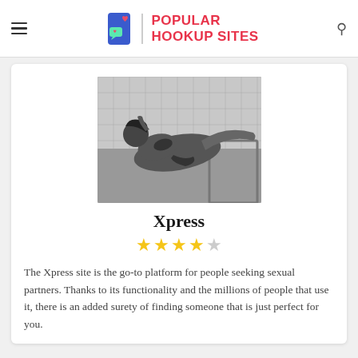Popular Hookup Sites
[Figure (photo): Black and white photo of a woman posing on furniture, used as a site thumbnail image]
Xpress
★★★★☆ (4 out of 5 stars)
The Xpress site is the go-to platform for people seeking sexual partners. Thanks to its functionality and the millions of people that use it, there is an added surety of finding someone that is just perfect for you.